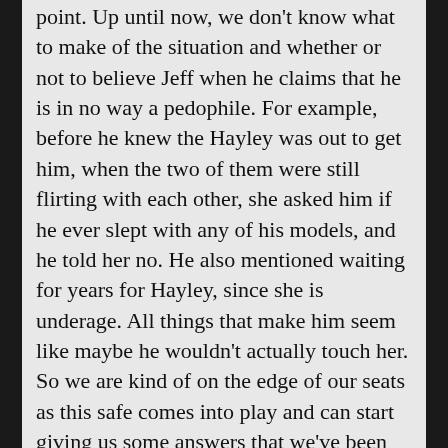point. Up until now, we don't know what to make of the situation and whether or not to believe Jeff when he claims that he is in no way a pedophile. For example, before he knew the Hayley was out to get him, when the two of them were still flirting with each other, she asked him if he ever slept with any of his models, and he told her no. He also mentioned waiting for years for Hayley, since she is underage. All things that make him seem like maybe he wouldn't actually touch her. So we are kind of on the edge of our seats as this safe comes into play and can start giving us some answers that we've been wondering about.
But then the movie goes right back to being about torture. Instead of building on the secret, and slowly revealing more, the way it should have, the movie goes back to where it was. Sure, the game is now upped to taking the torture to the next level, as Hayley's new plan is to castrate Jeff, but still, in the realm of this movie leaving us eager to see the Hostal becomes about the